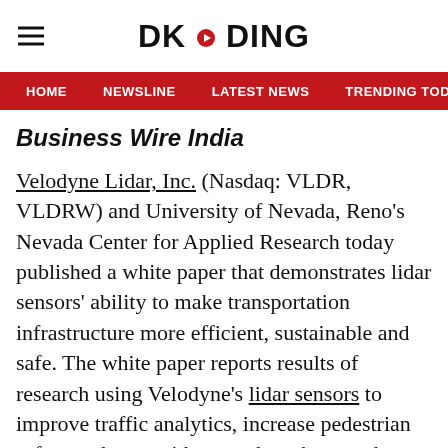DKODING
HOME  NEWSLINE  LATEST NEWS  TRENDING TODAY  ENT
Business Wire India
Velodyne Lidar, Inc. (Nasdaq: VLDR, VLDRW) and University of Nevada, Reno's Nevada Center for Applied Research today published a white paper that demonstrates lidar sensors' ability to make transportation infrastructure more efficient, sustainable and safe. The white paper reports results of research using Velodyne's lidar sensors to improve traffic analytics, increase pedestrian safety, reduce accidents and work toward facilitated use of autonomous vehicles.